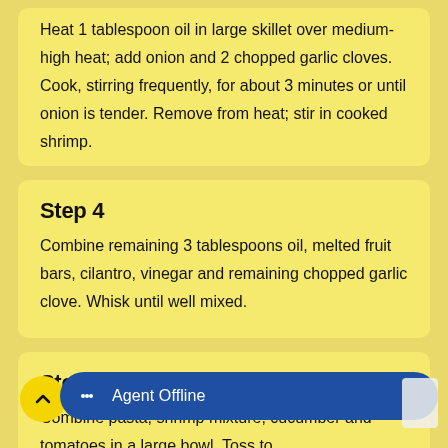Heat 1 tablespoon oil in large skillet over medium-high heat; add onion and 2 chopped garlic cloves. Cook, stirring frequently, for about 3 minutes or until onion is tender. Remove from heat; stir in cooked shrimp.
Step 4
Combine remaining 3 tablespoons oil, melted fruit bars, cilantro, vinegar and remaining chopped garlic clove. Whisk until well mixed.
Step 5
Combine pasta, shrimp mixture, cucumber and tomatoes in a large bowl. Toss to